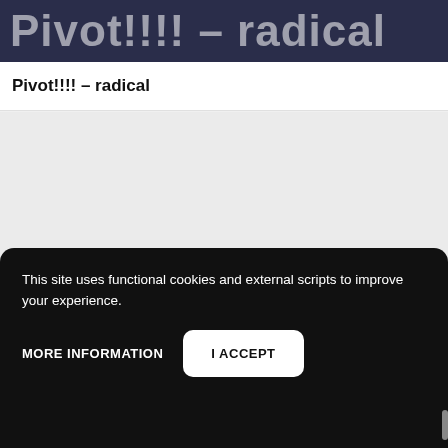[Figure (screenshot): Dark blue/navy banner with large semi-transparent white text reading 'Pivot!!!! – radical']
Pivot!!!! – radical
[Figure (screenshot): Gray empty content area placeholder]
This site uses functional cookies and external scripts to improve your experience.
MORE INFORMATION
I ACCEPT